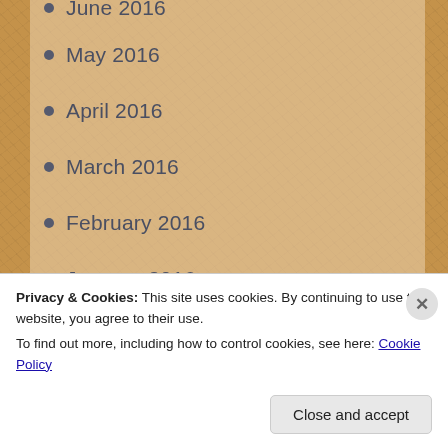June 2016
May 2016
April 2016
March 2016
February 2016
January 2016
December 2015
November 2015
October 2015
September 2015
August 2015
July 2015
Privacy & Cookies: This site uses cookies. By continuing to use this website, you agree to their use.
To find out more, including how to control cookies, see here: Cookie Policy